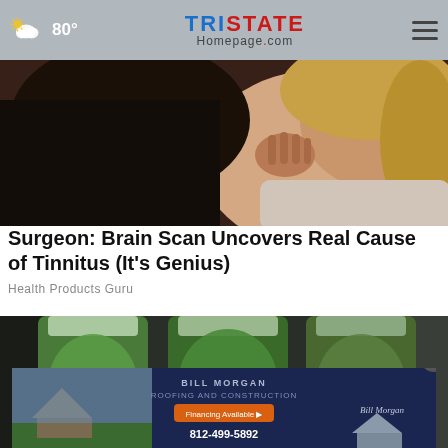80° | TRISTATE HOMEPAGE.com
[Figure (photo): Woman holding the back of her neck/ear, suggesting pain or discomfort, with dark background]
Surgeon: Brain Scan Uncovers Real Cause of Tinnitus (It's Genius)
Health Products Guru
[Figure (photo): Three plastic bottles filled with green liquid and lemon/cucumber slices]
[Figure (photo): Bill Morgan Roofing and Construction advertisement banner showing 812-499-5892]